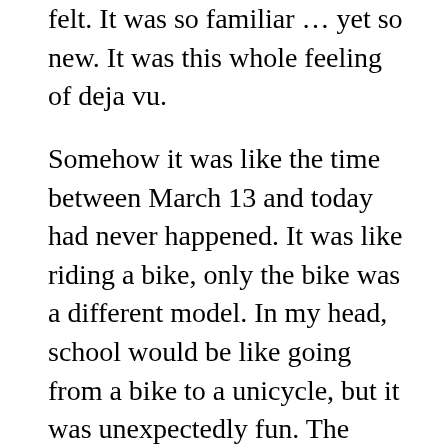felt. It was so familiar … yet so new. It was this whole feeling of deja vu.
Somehow it was like the time between March 13 and today had never happened. It was like riding a bike, only the bike was a different model. In my head, school would be like going from a bike to a unicycle, but it was unexpectedly fun. The human interaction was necessary and overdue. I connected with a lot of kids, and I fell back into the routine of the before world, with the addition of masks and social distancing.
Entering the world in its current state is not